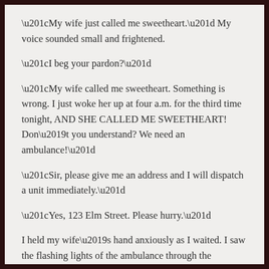“My wife just called me sweetheart.” My voice sounded small and frightened.
“I beg your pardon?”
“My wife called me sweetheart. Something is wrong. I just woke her up at four a.m. for the third time tonight, AND SHE CALLED ME SWEETHEART! Don’t you understand? We need an ambulance!”
“Sir, please give me an address and I will dispatch a unit immediately.”
“Yes, 123 Elm Street. Please hurry.”
I held my wife’s hand anxiously as I waited. I saw the flashing lights of the ambulance through the bedroom window. Suddenly, she started.